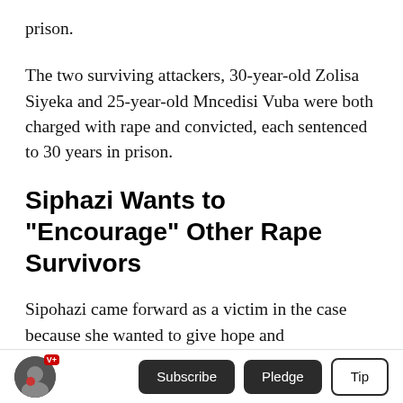prison.
The two surviving attackers, 30-year-old Zolisa Siyeka and 25-year-old Mncedisi Vuba were both charged with rape and convicted, each sentenced to 30 years in prison.
Siphazi Wants to "Encourage" Other Rape Survivors
Sipohazi came forward as a victim in the case because she wanted to give hope and encouragement